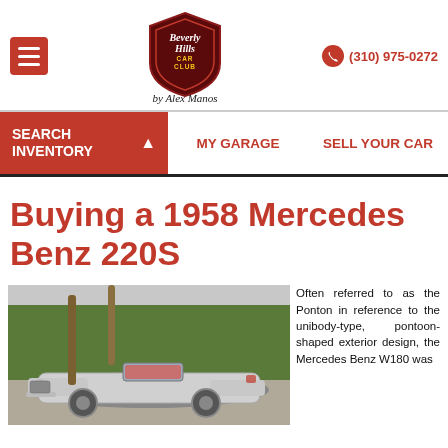Beverly Hills Car Club by Alex Manos — (310) 975-0272
SEARCH INVENTORY | MY GARAGE | SELL YOUR CAR
Buying a 1958 Mercedes Benz 220S
[Figure (photo): Silver 1958 Mercedes Benz 220S convertible parked in front of palm trees]
Often referred to as the Ponton in reference to the unibody-type, pontoon-shaped exterior design, the Mercedes Benz W180 was